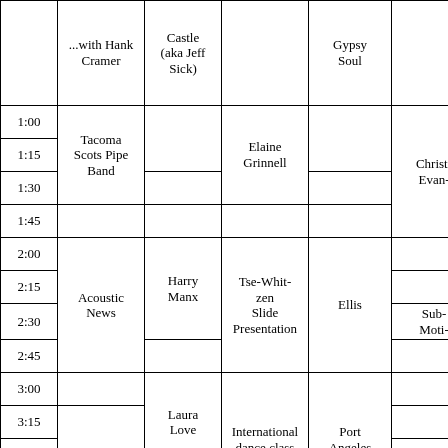| Time | Col2 | Col3 | Col4 | Col5 | Col6 |
| --- | --- | --- | --- | --- | --- |
|  | ...with Hank Cramer | Castle (aka Jeff Sick) |  | Gypsy Soul |  |
| 1:00 | Tacoma Scots Pipe Band |  | Elaine Grinnell |  |  |
| 1:15 |  |  |  |  |  |
| 1:30 |  |  |  |  | Christ- Evan- |
| 1:45 |  |  |  |  |  |
| 2:00 | Acoustic News | Harry Manx | Tse-Whit-zen Slide Presentation | Ellis |  |
| 2:15 |  |  |  |  |  |
| 2:30 |  |  |  |  | Sub- Moti- |
| 2:45 |  |  |  |  |  |
| 3:00 |  | Laura Love |  |  |  |
| 3:15 | Gypsy Soul |  | International dance class with Barb Gardner | Port Angeles String Quartet |  |
| 3:30 |  |  |  |  |  |
| 3:45 |  |  |  |  |  |
| 4:00 |  | Erica Luckett |  |  |  |
| 4:15 |  |  |  |  | Lonely |
| 4:30 | Showcase: |  |  | Geoffrey |  |